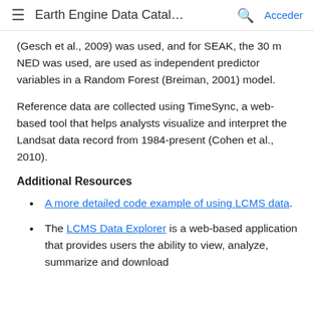≡  Earth Engine Data Catal…  🔍  Acceder
(Gesch et al., 2009) was used, and for SEAK, the 30 m NED was used, are used as independent predictor variables in a Random Forest (Breiman, 2001) model.
Reference data are collected using TimeSync, a web-based tool that helps analysts visualize and interpret the Landsat data record from 1984-present (Cohen et al., 2010).
Additional Resources
A more detailed code example of using LCMS data.
The LCMS Data Explorer is a web-based application that provides users the ability to view, analyze, summarize and download